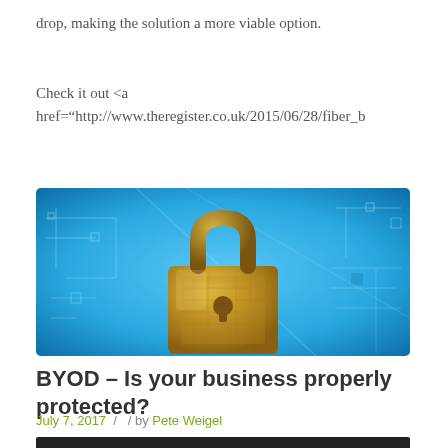drop, making the solution a more viable option.
Check it out <a href="http://www.theregister.co.uk/2015/06/28/fiber_b
[Figure (photo): Gold padlock on a blue digital circuit board background, representing cybersecurity and BYOD protection.]
BYOD – Is your business properly protected?
July 7, 2017  /   / by Pete Weigel
[Figure (photo): Dark/black image at bottom of page, partially visible.]